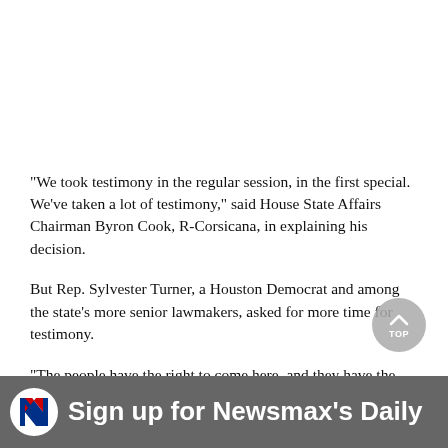"We took testimony in the regular session, in the first special. We've taken a lot of testimony," said House State Affairs Chairman Byron Cook, R-Corsicana, in explaining his decision.
But Rep. Sylvester Turner, a Houston Democrat and among the state's more senior lawmakers, asked for more time for testimony.
"The people have the right to come here, and they have the right to be heard," Turner said.
Just before the committee's vote, Turner tried to offer amendments to the bill, but Cook refused to recognize him or any other Democrat.
Sign up for Newsmax's Daily